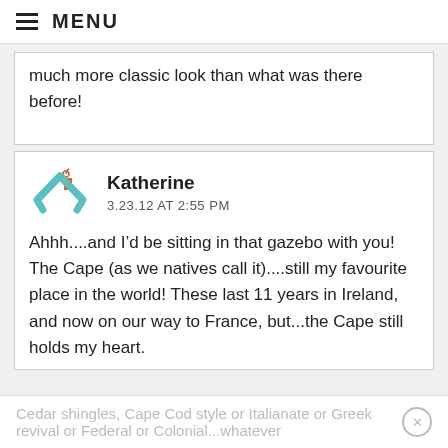MENU
much more classic look than what was there before!
Katherine
3.23.12 AT 2:55 PM
Ahhh....and I’d be sitting in that gazebo with you! The Cape (as we natives call it)....still my favourite place in the world! These last 11 years in Ireland, and now on our way to France, but...the Cape still holds my heart.
Cedar shingles, Cape Cod style or Italianate or Greek revival or Federal or Colonial...whatever